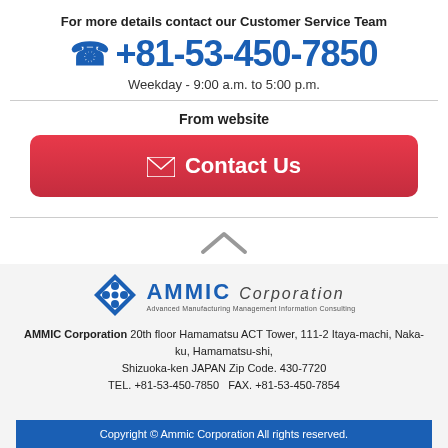For more details contact our Customer Service Team
☎ +81-53-450-7850
Weekday - 9:00 a.m. to 5:00 p.m.
From website
[Figure (other): Red Contact Us button with envelope icon]
[Figure (other): Up arrow chevron icon]
[Figure (logo): AMMIC Corporation logo with diamond shape and tagline: Advanced Manufacturing Management Information Consulting]
AMMIC Corporation 20th floor Hamamatsu ACT Tower, 111-2 Itaya-machi, Naka-ku, Hamamatsu-shi, Shizuoka-ken JAPAN Zip Code. 430-7720 TEL. +81-53-450-7850  FAX. +81-53-450-7854
Copyright © Ammic Corporation All rights reserved.